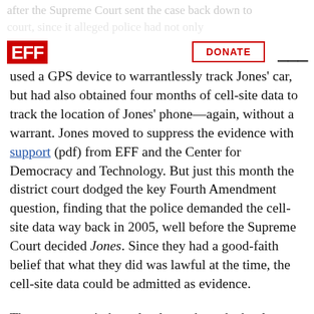EFF | DONATE
used a GPS device to warrantlessly track Jones' car, but had also obtained four months of cell-site data to track the location of Jones' phone—again, without a warrant. Jones moved to suppress the evidence with support (pdf) from EFF and the Center for Democracy and Technology. But just this month the district court dodged the key Fourth Amendment question, finding that the police demanded the cell-site data way back in 2005, well before the Supreme Court decided Jones. Since they had a good-faith belief that what they did was lawful at the time, the cell-site data could be admitted as evidence.
The courts aren't the only place where the battle over location privacy played out this year. State